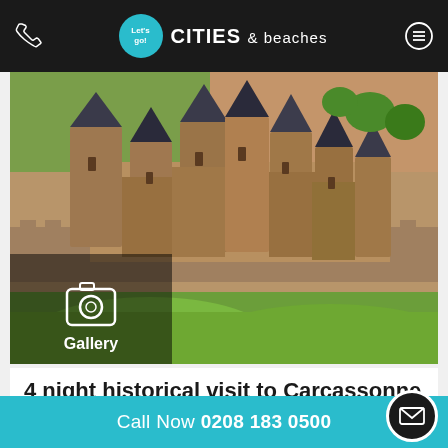Let's go! CITIES & beaches
[Figure (photo): Aerial view of Carcassonne medieval fortress with towers and ramparts, surrounded by green grass and terracotta-roofed town buildings. Gallery overlay in bottom left corner with camera icon and 'Gallery' label.]
4 night historical visit to Carcassonne and Girona
Call Now 0208 183 0500